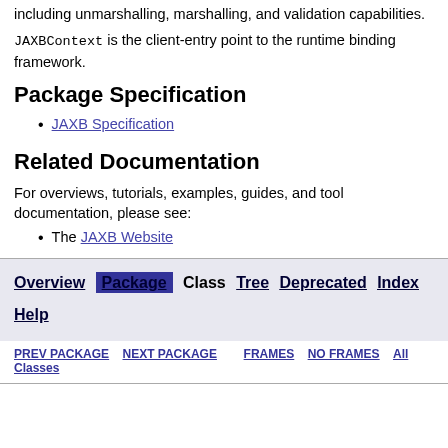including unmarshalling, marshalling, and validation capabilities.
JAXBContext is the client-entry point to the runtime binding framework.
Package Specification
JAXB Specification
Related Documentation
For overviews, tutorials, examples, guides, and tool documentation, please see:
The JAXB Website
Overview Package Class Tree Deprecated Index Help | PREV PACKAGE NEXT PACKAGE FRAMES NO FRAMES All Classes